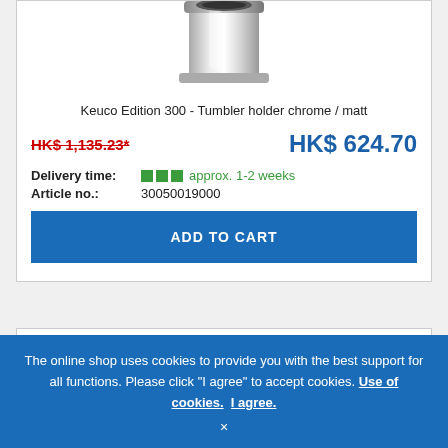[Figure (photo): Chrome tumbler holder product photo — partially cropped at top]
Keuco Edition 300 - Tumbler holder chrome / matt
HK$ 1,135.23*
HK$ 624.70
Delivery time:   approx. 1-2 weeks
Article no.:   30050019000
ADD TO CART
[Figure (logo): KEUCO logo and -44% discount badge]
The online shop uses cookies to provide you with the best support for all functions. Please click "I agree" to accept cookies. Use of cookies.  I agree.  ×